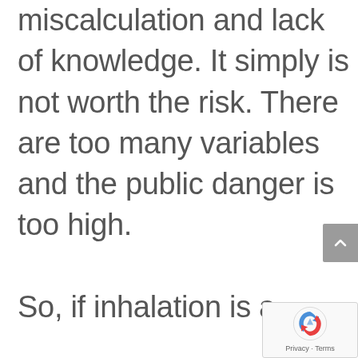miscalculation and lack of knowledge. It simply is not worth the risk. There are too many variables and the public danger is too high. So, if inhalation is a